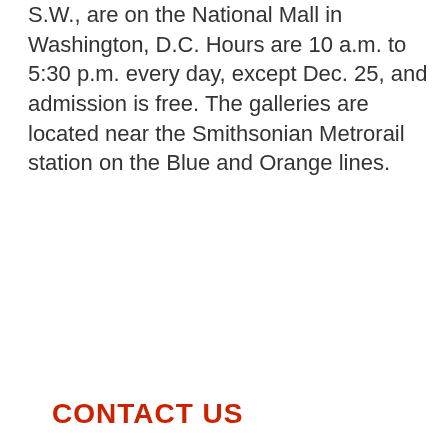S.W., are on the National Mall in Washington, D.C. Hours are 10 a.m. to 5:30 p.m. every day, except Dec. 25, and admission is free. The galleries are located near the Smithsonian Metrorail station on the Blue and Orange lines.
CONTACT US